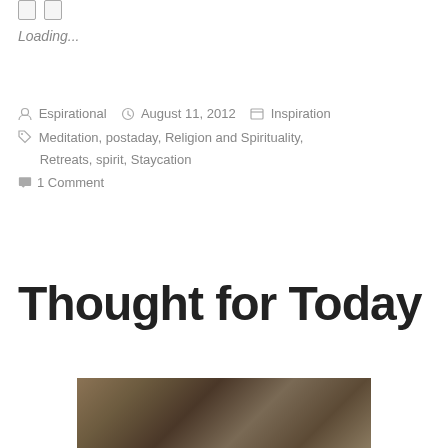Loading...
Espirational  August 11, 2012  Inspiration
Meditation, postaday, Religion and Spirituality, Retreats, spirit, Staycation
1 Comment
Thought for Today
[Figure (photo): Textured earthy/rocky surface photograph, partially visible at bottom of page]